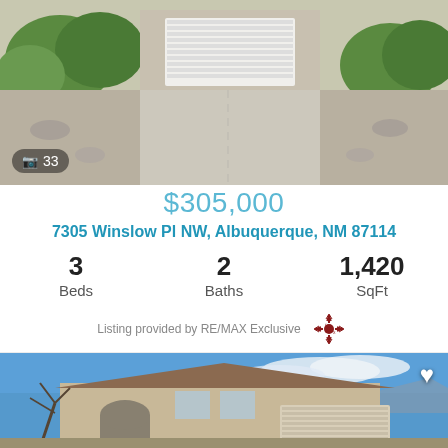[Figure (photo): Exterior photo of a single-story house with garage and concrete driveway, desert landscaping with shrubs and rocks, photo count badge showing camera icon and 33]
📷 33
$305,000
7305 Winslow Pl NW, Albuquerque, NM 87114
3 Beds  2 Baths  1,420 SqFt
Listing provided by RE/MAX Exclusive
[Figure (photo): Exterior photo of a two-story stucco house with arched doorway, brown trim, attached garage, blue sky with clouds in background, heart/save icon in top right corner]